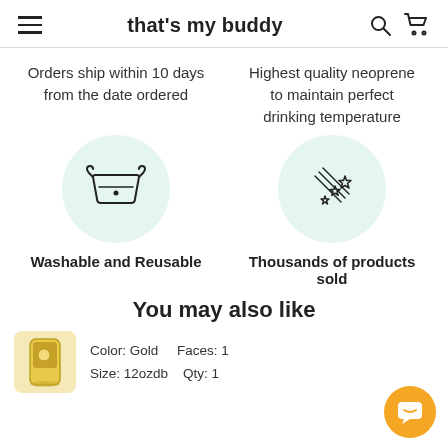that's my buddy
Orders ship within 10 days from the date ordered
Highest quality neoprene to maintain perfect drinking temperature
[Figure (illustration): Light teal circle with a wash-care basin icon (hand wash symbol)]
[Figure (illustration): Light teal circle with shooting stars / sparkle icon]
Washable and Reusable
Thousands of products sold
You may also like
Color: Gold   Faces: 1
Size: 12ozdb   Qty: 1